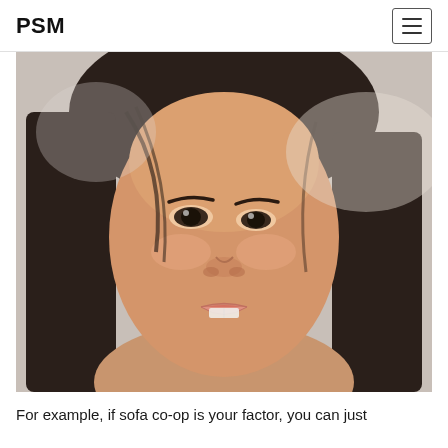PSM
[Figure (photo): Close-up photo of a young Asian woman with long dark hair, slightly open mouth showing teeth, looking at camera against a light background.]
For example, if sofa co-op is your factor, you can just